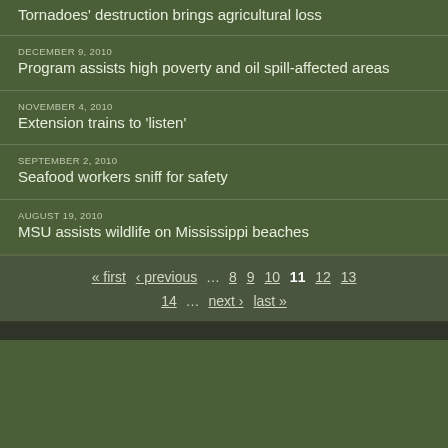Tornadoes' destruction brings agricultural loss
DECEMBER 9, 2010
Program assists high poverty and oil spill-affected areas
NOVEMBER 4, 2010
Extension trains to 'listen'
SEPTEMBER 2, 2010
Seafood workers sniff for safety
AUGUST 19, 2010
MSU assists wildlife on Mississippi beaches
« first ‹ previous … 8 9 10 11 12 13 14 … next › last »